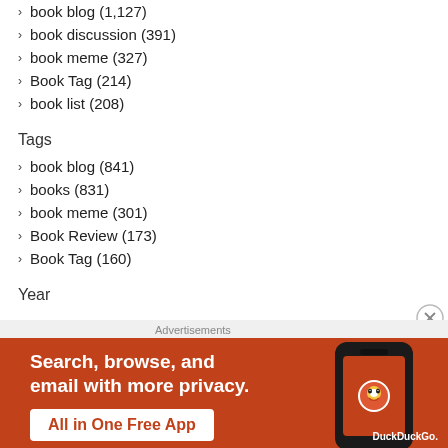book blog (1,127)
book discussion (391)
book meme (327)
Book Tag (214)
book list (208)
Tags
book blog (841)
books (831)
book meme (301)
Book Review (173)
Book Tag (160)
Year
[Figure (infographic): DuckDuckGo advertisement banner with orange background showing 'Search, browse, and email with more privacy. All in One Free App' text with phone mockup]
Advertisements